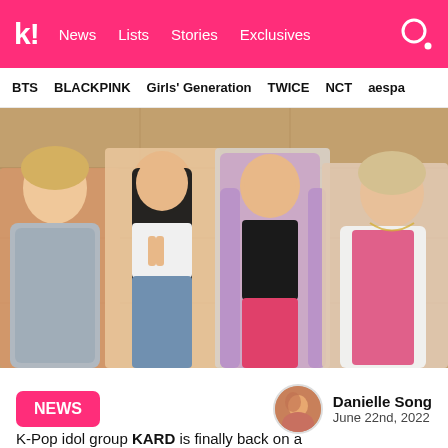K! News Lists Stories Exclusives
BTS BLACKPINK Girls' Generation TWICE NCT aespa
[Figure (photo): Four members of K-pop group KARD posing together in front of a wooden panel wall. From left: a male member with blonde hair wearing a floral vest, a female member with long black hair in a white crop top, a female member with long pink/lavender hair in a black outfit, and a male member with light hair wearing a white jacket over a pink top.]
NEWS
Danielle Song
June 22nd, 2022
K-Pop idol group KARD is finally back on a